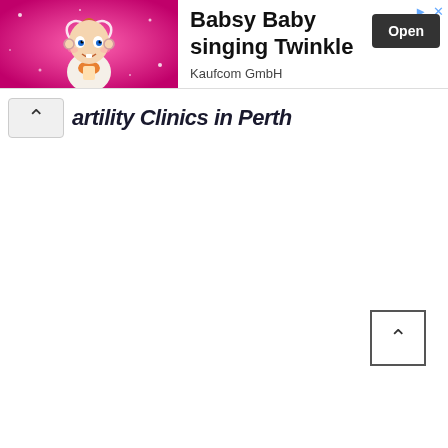[Figure (screenshot): Advertisement banner: animated baby character on pink sparkly background on the left; 'Babsy Baby singing Twinkle' text with 'Kaufcom GmbH' subtitle and 'Open' dark button on the right; arrow and X icons top right]
artility Clinics in Perth